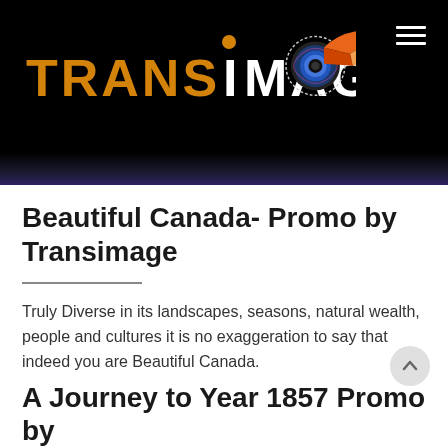[Figure (logo): Transimage logo with orange TRANS text, white IMAGE text, orange dot above i, and camera lens icon with trumpet graphic on black background]
Beautiful Canada- Promo by Transimage
Truly Diverse in its landscapes, seasons, natural wealth, people and cultures it is no exaggeration to say that indeed you are Beautiful Canada.
A Journey to Year 1857 Promo by